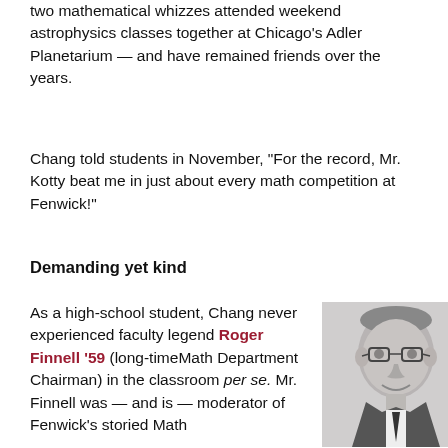two mathematical whizzes attended weekend astrophysics classes together at Chicago's Adler Planetarium — and have remained friends over the years.
Chang told students in November, "For the record, Mr. Kotty beat me in just about every math competition at Fenwick!"
Demanding yet kind
As a high-school student, Chang never experienced faculty legend Roger Finnell '59 (long-timeMath Department Chairman) in the classroom per se. Mr. Finnell was — and is — moderator of Fenwick's storied Math
[Figure (photo): Black and white portrait photo of a man wearing glasses and a suit, smiling at the camera]